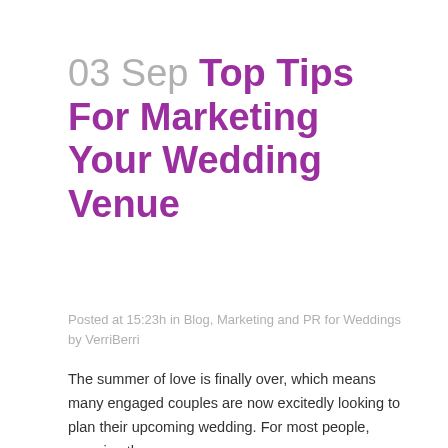03 Sep Top Tips For Marketing Your Wedding Venue
Posted at 15:23h in Blog, Marketing and PR for Weddings by VerriBerri
The summer of love is finally over, which means many engaged couples are now excitedly looking to plan their upcoming wedding. For most people, securing the